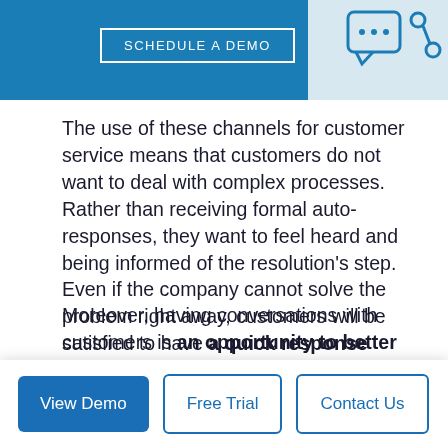[Figure (illustration): Blue banner with 'SCHEDULE A DEMO' button and chat/share icons on a light blue panel on the right]
The use of these channels for customer service means that customers do not want to deal with complex processes. Rather than receiving formal auto-responses, they want to feel heard and being informed of the resolution's step. Even if the company cannot solve the problem right away, customers will be satisfied to have a quick response giving them more information about the resolution.
Moreover, having conversations with customers is an opportunity to better understand them and prevent churn. When customers can ask questions or get assistance, they will be more likely to think of the problem. This gives companies the opportunity to
[Figure (screenshot): Bottom popup bar with three buttons: 'View Demo' (filled blue), 'Free Trial' (outlined), 'Contact Us' (outlined)]